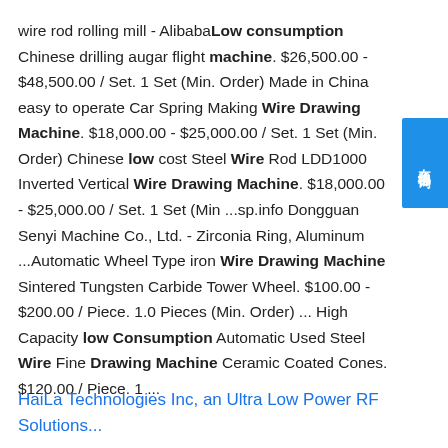wire rod rolling mill - AlibabaLow consumption Chinese drilling augar flight machine. $26,500.00 - $48,500.00 / Set. 1 Set (Min. Order) Made in China easy to operate Car Spring Making Wire Drawing Machine. $18,000.00 - $25,000.00 / Set. 1 Set (Min. Order) Chinese low cost Steel Wire Rod LDD1000 Inverted Vertical Wire Drawing Machine. $18,000.00 - $25,000.00 / Set. 1 Set (Min ...sp.info Dongguan Senyi Machine Co., Ltd. - Zirconia Ring, Aluminum ...Automatic Wheel Type iron Wire Drawing Machine Sintered Tungsten Carbide Tower Wheel. $100.00 - $200.00 / Piece. 1.0 Pieces (Min. Order) ... High Capacity low Consumption Automatic Used Steel Wire Fine Drawing Machine Ceramic Coated Cones. $120.00 / Piece. 1 ...
HaiLa Technologies Inc, an Ultra Low Power RF Solutions...